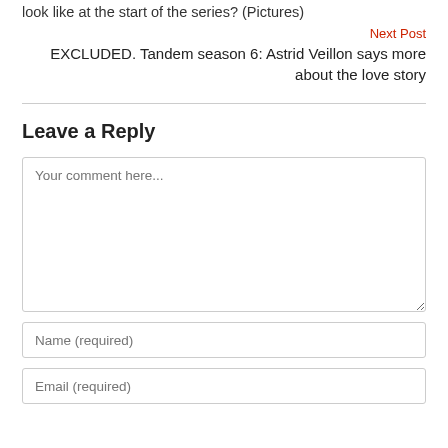look like at the start of the series? (Pictures)
Next Post
EXCLUDED. Tandem season 6: Astrid Veillon says more about the love story
Leave a Reply
Your comment here...
Name (required)
Email (required)